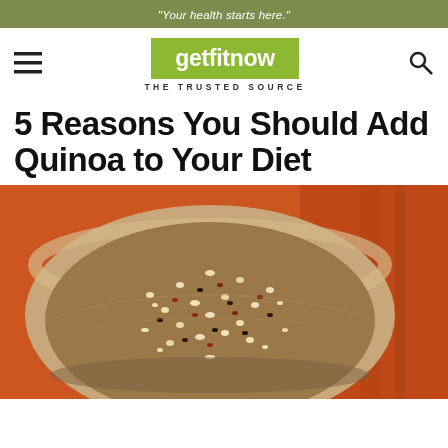"Your health starts here."
[Figure (logo): getfitnow logo with green background and tagline THE TRUSTED SOURCE]
5 Reasons You Should Add Quinoa to Your Diet
[Figure (photo): Close-up photo of a wooden bowl filled with mixed quinoa grains (white, red, and black) on an orange/red woven tablecloth background]